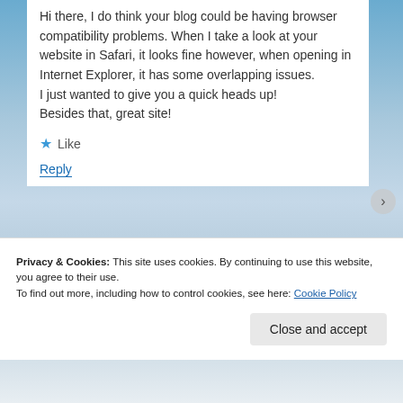Hi there, I do think your blog could be having browser compatibility problems. When I take a look at your website in Safari, it looks fine however, when opening in Internet Explorer, it has some overlapping issues. I just wanted to give you a quick heads up! Besides that, great site!
★ Like
Reply
Privacy & Cookies: This site uses cookies. By continuing to use this website, you agree to their use. To find out more, including how to control cookies, see here: Cookie Policy
Close and accept